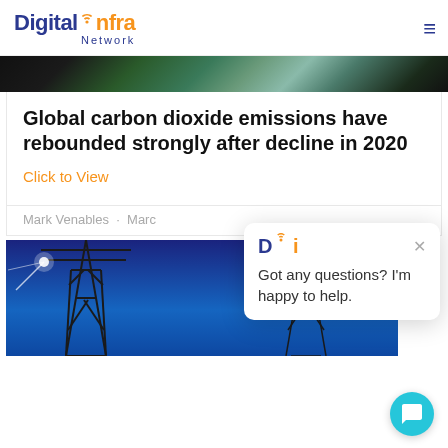Digital Infra Network
[Figure (photo): Dark hero banner image showing earth/nature tones in a wide strip]
Global carbon dioxide emissions have rebounded strongly after decline in 2020
Click to View
Mark Venables · Marc...
[Figure (photo): Electric power transmission tower / pylon against blue sky, with bright light flares]
[Figure (screenshot): Chat popup widget with DI logo and text: Got any questions? I'm happy to help. With close X button.]